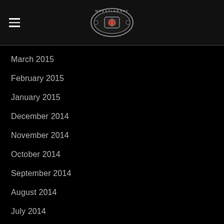WrestleRant
March 2015
February 2015
January 2015
December 2014
November 2014
October 2014
September 2014
August 2014
July 2014
June 2014
May 2014
April 2014
March 2014
February 2014
January 2014
December 2013
November 2013